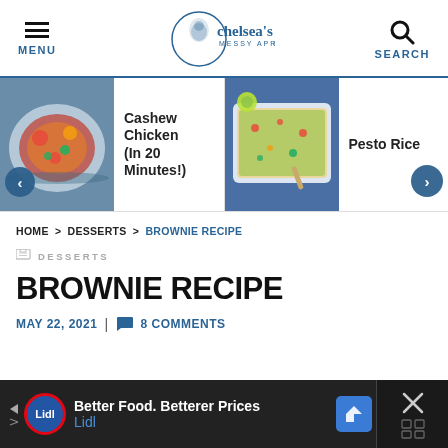MENU | chelsea's MESSY APRON® | SEARCH
[Figure (screenshot): Carousel showing two recipe cards: 'Cashew Chicken (In 20 Minutes!)' with a stir-fry dish image on the left, and 'Pesto Rice' with a baked rice dish image on the right. Navigation arrows on each side.]
HOME > DESSERTS > BROWNIE RECIPE
DESSERTS
BROWNIE RECIPE
MAY 22, 2021 | 8 COMMENTS
[Figure (screenshot): Advertisement bar at bottom: Lidl ad - 'Better Food. Betterer Prices' with Lidl logo, navigation arrow icon, and close button with X and grid icon.]